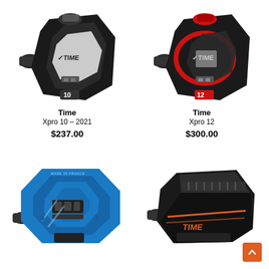[Figure (photo): Time Xpro 10 - 2021 bicycle pedal, black with white accents, top-down view, number 10 visible on rear]
Time
Xpro 10 - 2021
$237.00
[Figure (photo): Time Xpro 12 bicycle pedal, black with red accents, top-down view, number 12 visible on rear]
Time
Xpro 12
$300.00
[Figure (photo): Blue aluminum bicycle pedal, made in France marking, top/side view showing cleat mechanism]
[Figure (photo): Time bicycle pedal, black with orange accents, side/angled view, Time logo visible]